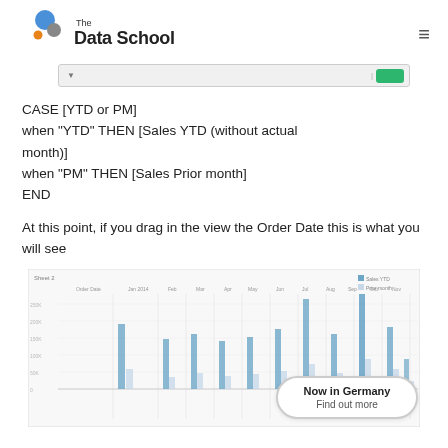The Data School
[Figure (screenshot): UI strip showing a search/filter bar with a green button on the right]
CASE [YTD or PM]
when "YTD" THEN [Sales YTD (without actual month)]
when "PM" THEN [Sales Prior month]
END
At this point, if you drag in the view the Order Date this is what you will see
[Figure (bar-chart): Bar chart showing sales data over time with vertical bars of varying heights; partially obscured by a 'Now in Germany / Find out more' badge overlay]
Now in Germany
Find out more